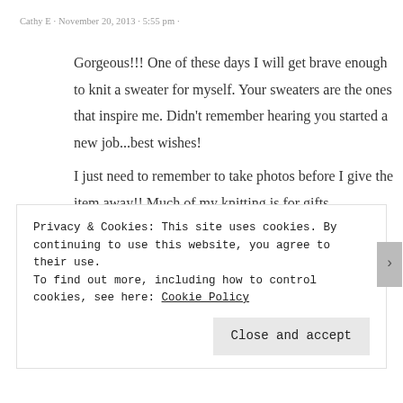Cathy E · November 20, 2013 · 5:55 pm ·
Gorgeous!!! One of these days I will get brave enough to knit a sweater for myself. Your sweaters are the ones that inspire me. Didn't remember hearing you started a new job...best wishes!
I just need to remember to take photos before I give the item away!! Much of my knitting is for gifts.
Privacy & Cookies: This site uses cookies. By continuing to use this website, you agree to their use. To find out more, including how to control cookies, see here: Cookie Policy
Close and accept